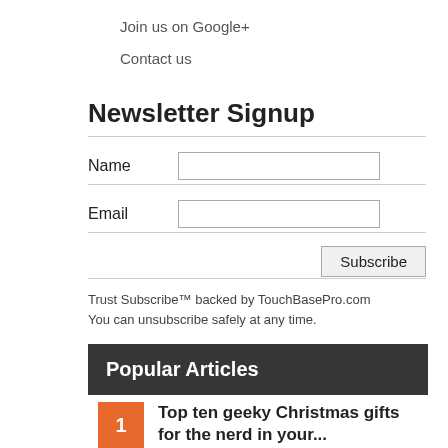Join us on Google+
Contact us
Newsletter Signup
Name [input field]
Email [input field]
Subscribe [button]
Trust Subscribe™ backed by TouchBasePro.com
You can unsubscribe safely at any time.
Popular Articles
1 Top ten geeky Christmas gifts for the nerd in your...